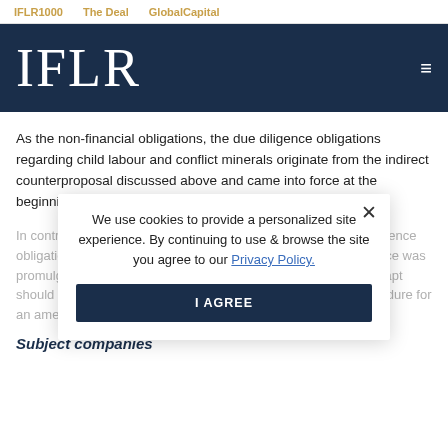IFLR1000   The Deal   GlobalCapital
IFLR
As the non-financial obligations, the due diligence obligations regarding child labour and conflict minerals originate from the indirect counterproposal discussed above and came into force at the beginning of 2022 with a transition period of one year.
In contrast to the non-financial reporting obligations, the due diligence obligations are in an ordinance (the 'Ordinance'). As the Ordinance was promulgated by the Swiss Federal Council, it will be easier to adapt should it be required as it does not require a full legislative procedure for an amendment.
We use cookies to provide a personalized site experience. By continuing to use & browse the site you agree to our Privacy Policy.
Subject companies